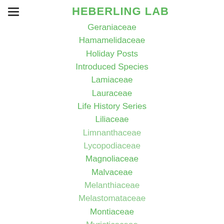HEBERLING LAB
Geraniaceae
Hamamelidaceae
Holiday Posts
Introduced Species
Lamiaceae
Lauraceae
Life History Series
Liliaceae
Limnanthaceae
Lycopodiaceae
Magnoliaceae
Malvaceae
Melanthiaceae
Melastomataceae
Montiaceae
Myristicaceae
Oleaceae
Onagraceae
Orobanchaceae
Oxalidaceae